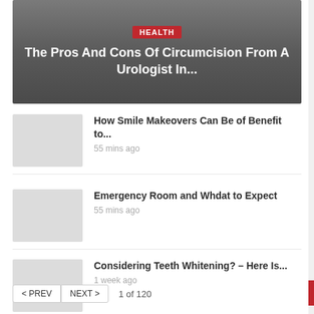[Figure (photo): Hero banner with dark grey gradient background showing a health article header]
The Pros And Cons Of Circumcision From A Urologist In...
How Smile Makeovers Can Be of Benefit to... | 55 mins ago
Emergency Room and Whdat to Expect | 55 mins ago
Considering Teeth Whitening? – Here Is... | 1 week ago
< PREV  NEXT >  1 of 120